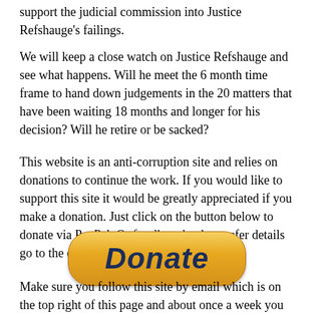support the judicial commission into Justice Refshauge's failings.
We will keep a close watch on Justice Refshauge and see what happens. Will he meet the 6 month time frame to hand down judgements in the 20 matters that have been waiting 18 months and longer for his decision? Will he retire or be sacked?
This website is an anti-corruption site and relies on donations to continue the work. If you would like to support this site it would be greatly appreciated if you make a donation. Just click on the button below to donate via PayPal. Or for direct bank transfer details go to the donations page above.
[Figure (other): PayPal Donate button — a golden rounded rectangle with the word 'Donate' in bold italic dark blue text]
Make sure you follow this site by email which is on the top right of this page and about once a week you will get an email when there is a new post/story on this site.